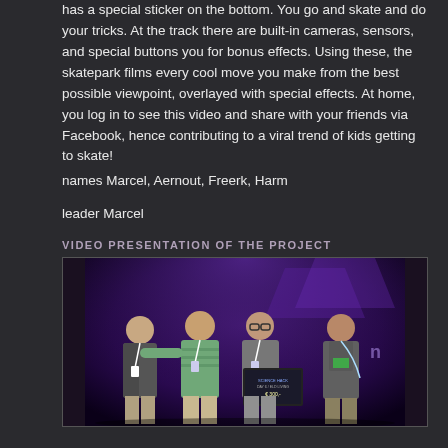has a special sticker on the bottom. You go and skate and do your tricks. At the track there are built-in cameras, sensors, and special buttons you for bonus effects. Using these, the skatepark films every cool move you make from the best possible viewpoint, overlayed with special effects. At home, you log in to see this video and share with your friends via Facebook, hence contributing to a viral trend of kids getting to skate!
names Marcel, Aernout, Freerk, Harm
leader Marcel
VIDEO PRESENTATION OF THE PROJECT
[Figure (photo): Four men standing together at an event, one holding a sign/award. Purple/dark background suggesting a conference or competition venue.]